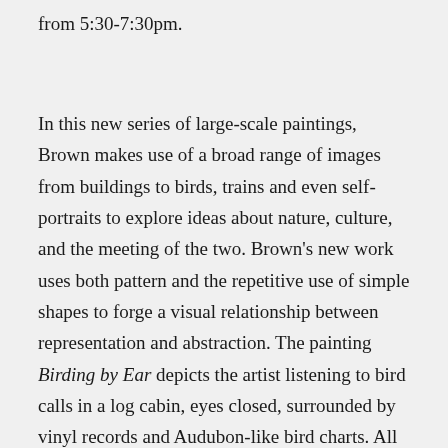from 5:30-7:30pm.
In this new series of large-scale paintings, Brown makes use of a broad range of images from buildings to birds, trains and even self-portraits to explore ideas about nature, culture, and the meeting of the two. Brown's new work uses both pattern and the repetitive use of simple shapes to forge a visual relationship between representation and abstraction. The painting Birding by Ear depicts the artist listening to bird calls in a log cabin, eyes closed, surrounded by vinyl records and Audubon-like bird charts. All of the imagery in Brown's work is